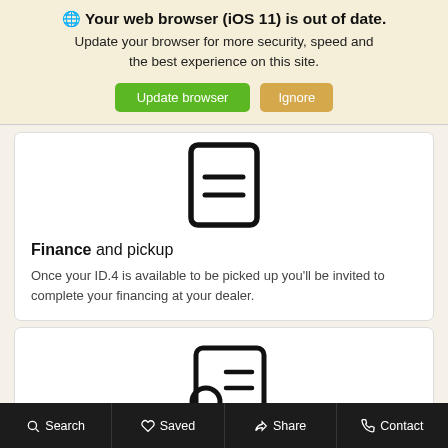🌐 Your web browser (iOS 11) is out of date. Update your browser for more security, speed and the best experience on this site.
Update browser | Ignore
[Figure (illustration): Icon of a document/clipboard with two horizontal lines representing text]
Finance and pickup
Once your ID.4 is available to be picked up you'll be invited to complete your financing at your dealer.
[Figure (illustration): Icon of a person with an ID card/document]
Search  Saved  Share  Contact